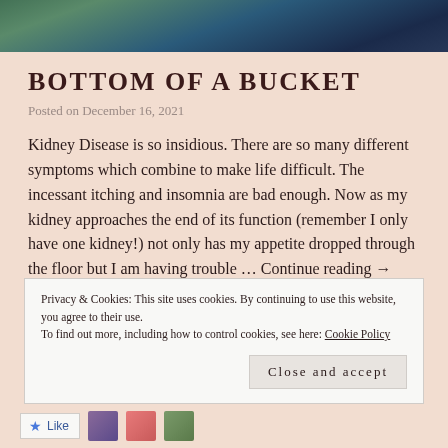[Figure (photo): Partial photo strip at top of blog post showing blurred outdoor scene with green and blue tones]
BOTTOM OF A BUCKET
Posted on December 16, 2021
Kidney Disease is so insidious. There are so many different symptoms which combine to make life difficult. The incessant itching and insomnia are bad enough. Now as my kidney approaches the end of its function (remember I only have one kidney!) not only has my appetite dropped through the floor but I am having trouble … Continue reading →
Privacy & Cookies: This site uses cookies. By continuing to use this website, you agree to their use.
To find out more, including how to control cookies, see here: Cookie Policy
Close and accept